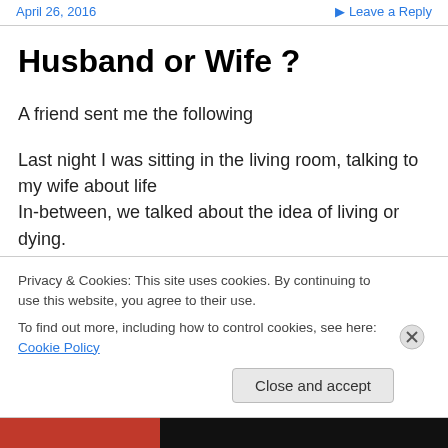April 26, 2016   Leave a Reply
Husband or Wife ?
A friend sent me the following
Last night I was sitting in the living room, talking to my wife about life
In-between, we talked about the idea of living or dying.
I told her, “Never let me live in a vegetative state, totally
Privacy & Cookies: This site uses cookies. By continuing to use this website, you agree to their use.
To find out more, including how to control cookies, see here: Cookie Policy
Close and accept